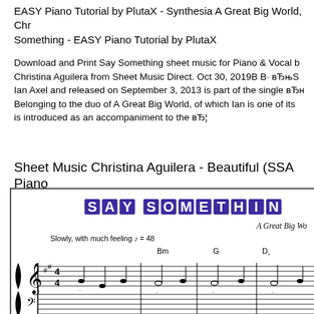EASY Piano Tutorial by PlutaX - Synthesia A Great Big World, Chr Something - EASY Piano Tutorial by PlutaX
Download and Print Say Something sheet music for Piano & Vocal b Christina Aguilera from Sheet Music Direct. Oct 30, 2019B B· вЂњS Ian Axel and released on September 3, 2013 is part of the single вЂн Belonging to the duo of A Great Big World, of which Ian is one of its is introduced as an accompaniment to the вЂ¦
Sheet Music Christina Aguilera - Beautiful (SSA Piano
[Figure (illustration): Sheet music excerpt showing the title 'SAY SOMETHING' in purple letter boxes, with musical staff notation, tempo marking 'Slowly, with much feeling ♩= 48', chord symbols Bm, G, D, and the beginning of the piano score with treble and bass clef.]